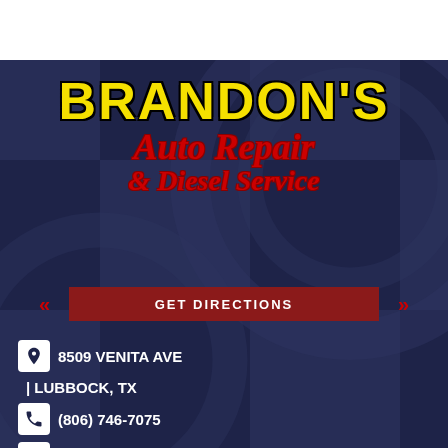[Figure (logo): Brandon's Auto Repair & Diesel Service logo with yellow bold text on dark navy checkered background]
GET DIRECTIONS
8509 VENITA AVE
| LUBBOCK, TX
(806) 746-7075
Email the Shop
MON-FRI | 8:00 AM - 5:00 PM
WEEKENDS | CLOSED